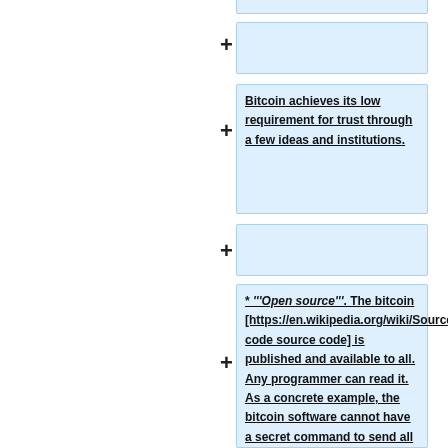(partial box, cut off at top)
(empty expandable box)
Bitcoin achieves its low requirement for trust through a few ideas and institutions.
(empty expandable box)
* '''Open source'''. The bitcoin [https://en.wikipedia.org/wiki/Source_code source code] is published and available to all. Any programmer can read it. As a concrete example, the bitcoin software cannot have a secret command to send all the money to one person because that command would be seen and edited out by any reviewer.